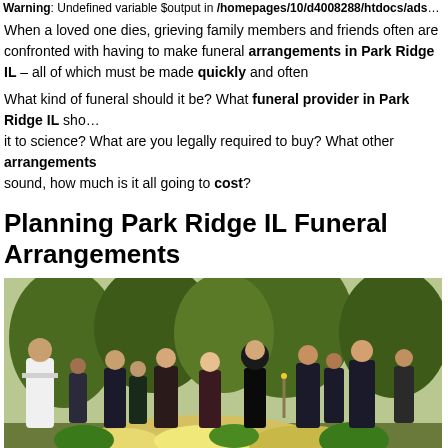Warning: Undefined variable $output in /homepages/10/d4008288/htdocs/adsense/insert-adsense.php on line 59
When a loved one dies, grieving family members and friends often are confronted with having to make funeral arrangements in Park Ridge IL – all of which must be made quickly and often under great emotional stress.
What kind of funeral should it be? What funeral provider in Park Ridge IL should be chosen? Should the body be donated to science? What are you legally required to buy? What other arrangements need to be made? And, hard as it may sound, how much is it all going to cost?
Planning Park Ridge IL Funeral Arrangements
[Figure (photo): A funeral scene outdoors with a group of mourners dressed in black standing around a flower-covered casket. A priest or officiant in white robes is on the left performing a ceremony. Yellow and white flowers adorn the casket in the foreground.]